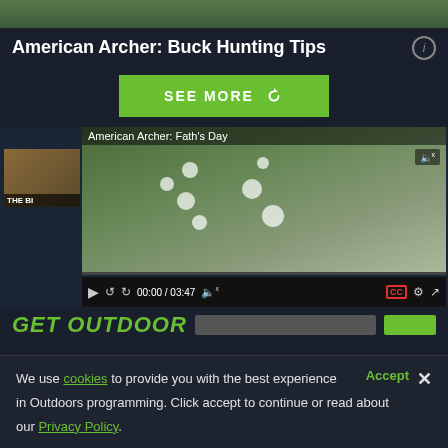[Figure (screenshot): Top strip showing outdoor/nature scene background]
American Archer: Buck Hunting Tips
[Figure (screenshot): Green 'SEE MORE' button with refresh icon]
[Figure (screenshot): Video player showing 'American Archer: Father's Day' with man in black shirt outdoors, video controls showing 00:00 / 03:47, CC button, settings, fullscreen. Thumbnail overlay showing 'THE BI...' text.]
GET OUTDOOR
We use cookies to provide you with the best experience in Outdoors programming. Click accept to continue or read about our Privacy Policy.